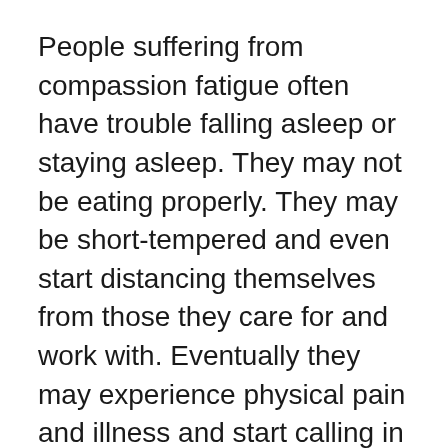People suffering from compassion fatigue often have trouble falling asleep or staying asleep. They may not be eating properly. They may be short-tempered and even start distancing themselves from those they care for and work with. Eventually they may experience physical pain and illness and start calling in sick more often.
Mental clarity can be compromised for many of the above reasons, leading to poor decision-making and potential mistakes. Without the attention it deserves, compassion fatigue can be